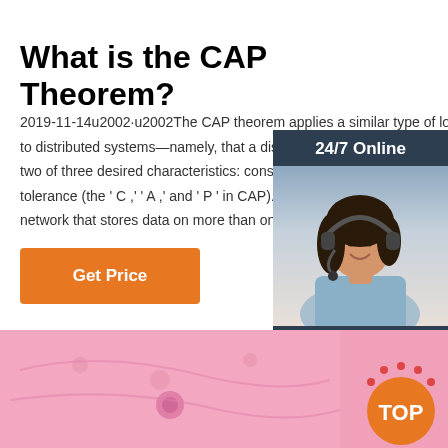What is the CAP Theorem?
2019-11-14u2002·u2002The CAP theorem applies a similar type of logic to distributed systems—namely, that a distributed system can deliver only two of three desired characteristics: consistency, availability, and partition tolerance (the 'C,' 'A,' and ' P ' in CAP). A distributed system is a network that stores data on more than one node (physical ...
[Figure (other): Orange 'Get Price' button]
[Figure (other): 24/7 Online chat widget with woman wearing headset, 'Click here for free chat!' text and orange QUOTATION button]
[Figure (photo): Pink stuffed pillow/cushion photo at bottom of page with TOP badge in bottom right corner]